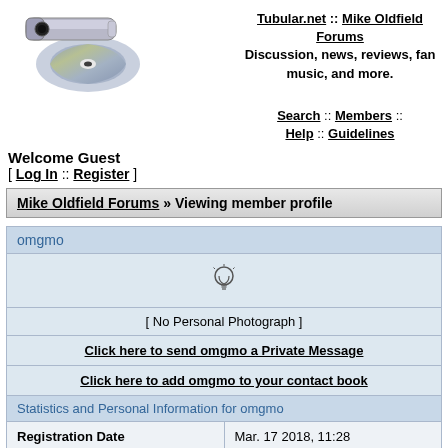[Figure (logo): Tubular.net logo showing a metallic tube/pipe instrument over a colorful CD disc]
Tubular.net :: Mike Oldfield Forums
Discussion, news, reviews, fan music, and more.
Search :: Members :: Help :: Guidelines
Welcome Guest
[ Log In :: Register ]
Mike Oldfield Forums » Viewing member profile
omgmo
[Figure (illustration): Small lightbulb icon (avatar placeholder)]
[ No Personal Photograph ]
Click here to send omgmo a Private Message
Click here to add omgmo to your contact book
Statistics and Personal Information for omgmo
| Field | Value |
| --- | --- |
| Registration Date | Mar. 17 2018, 11:28 |
| This member's number | 3770 |
| Last Profile Update | Mar. 17 2018, 11:28 |
| Last login date: | Feb. 25 2022, 17:26 |